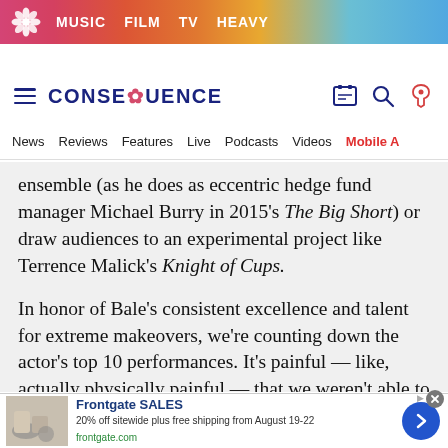MUSIC  FILM  TV  HEAVY
[Figure (logo): Consequence of Sound logo with hamburger menu and icons]
News  Reviews  Features  Live  Podcasts  Videos  Mobile App
ensemble (as he does as eccentric hedge fund manager Michael Burry in 2015's The Big Short) or draw audiences to an experimental project like Terrence Malick's Knight of Cups.

In honor of Bale's consistent excellence and talent for extreme makeovers, we're counting down the actor's top 10 performances. It's painful — like, actually physically painful — that we weren't able to find room on this list fo...
[Figure (other): Frontgate SALES advertisement banner: 20% off sitewide plus free shipping from August 19-22, frontgate.com]